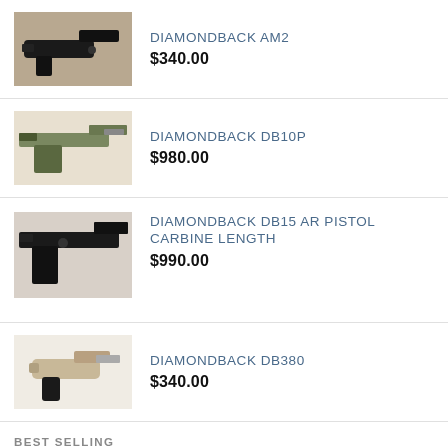DIAMONDBACK AM2
$340.00
DIAMONDBACK DB10P
$980.00
DIAMONDBACK DB15 AR PISTOL CARBINE LENGTH
$990.00
DIAMONDBACK DB380
$340.00
BEST SELLING
CZ 457 AMERICAN